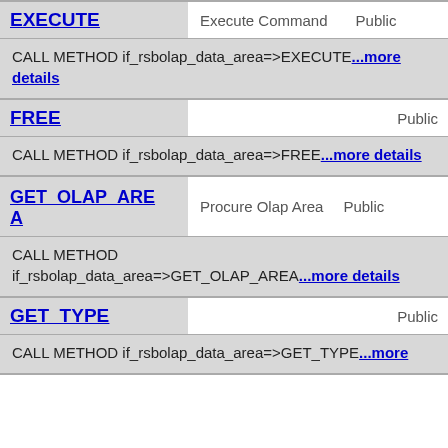| Method | Description | Visibility |
| --- | --- | --- |
| EXECUTE | Execute Command | Public |
| FREE |  | Public |
| GET_OLAP_AREA | Procure Olap Area | Public |
| GET_TYPE |  | Public |
CALL METHOD if_rsbolap_data_area=>EXECUTE...more details
CALL METHOD if_rsbolap_data_area=>FREE...more details
CALL METHOD if_rsbolap_data_area=>GET_OLAP_AREA...more details
CALL METHOD if_rsbolap_data_area=>GET_TYPE...more